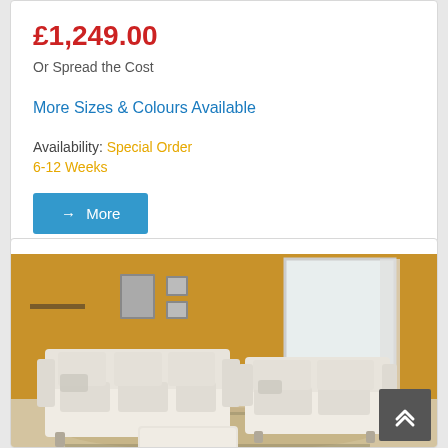£1,249.00
Or Spread the Cost
More Sizes & Colours Available
Availability: Special Order
6-12 Weeks
→ More
[Figure (photo): Photograph of a living room with cream/white sofas (3-seater and 2-seater) and a footstool/ottoman arranged on a patterned rug against a mustard yellow wall with framed artwork]